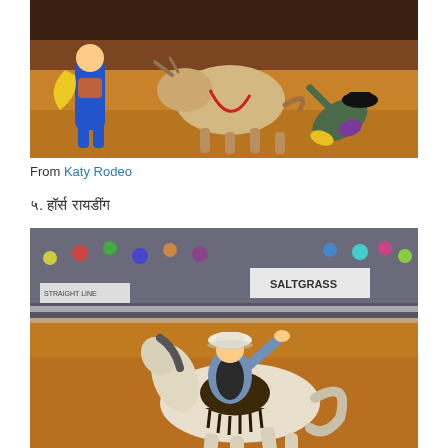[Figure (photo): Rodeo scene: a bull in an indoor arena with dirt floor, a cowboy falling off to the right wearing black hat and colorful outfit, and a bullfighter/clown in blue on the left holding a yellow cloth. Arena lighting on sandy dirt ground.]
From Katy Rodeo
५. हॉर्स रायडींग
[Figure (photo): Horse riding/bronc riding at a rodeo: a cowboy in a white hat, blue plaid shirt, and dark vest riding a white/cream bucking horse in an indoor arena with a large crowd in the bleachers. Saltgrass banner visible in background. Sandy dirt arena floor.]